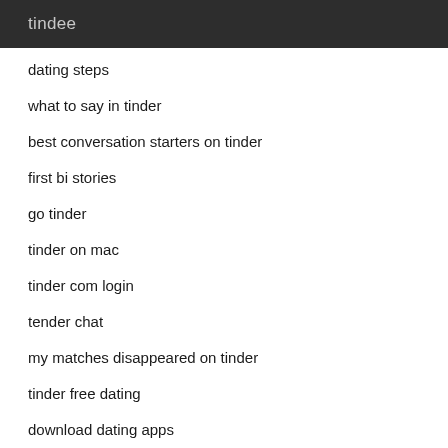tindee
dating steps
what to say in tinder
best conversation starters on tinder
first bi stories
go tinder
tinder on mac
tinder com login
tender chat
my matches disappeared on tinder
tinder free dating
download dating apps